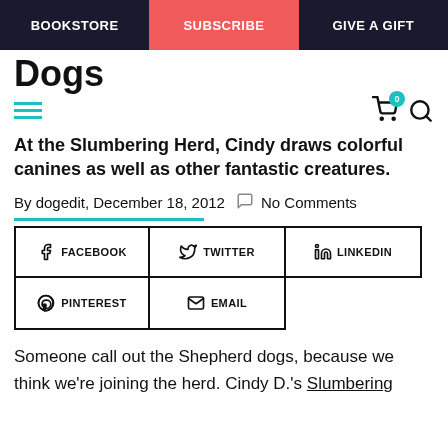BOOKSTORE | SUBSCRIBE | GIVE A GIFT
Dogs
At the Slumbering Herd, Cindy draws colorful canines as well as other fantastic creatures.
By dogedit, December 18, 2012  No Comments
[Figure (infographic): Social sharing buttons: Facebook, Twitter, LinkedIn, Pinterest, Email]
Someone call out the Shepherd dogs, because we think we're joining the herd. Cindy D.'s Slumbering